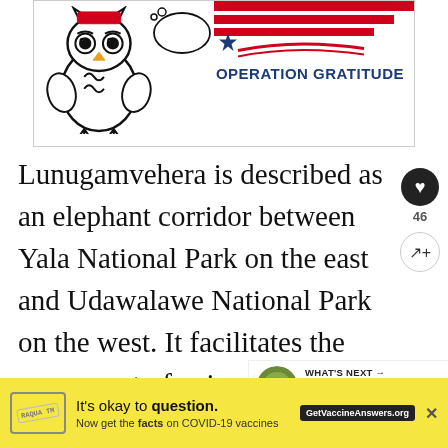[Figure (illustration): Cartoon owl illustration next to an Operation Gratitude logo with red diagonal stripes, a blue star, and bold blue text reading OPERATION GRATITUDE]
Lunugamvehera is described as an elephant corridor between Yala National Park on the east and Udawalawe National Park on the west. It facilitates the movement of animals from one to the other and provides a favorable habitat for elephants coming from the nearby Uva and Southern regions. It's for ti... National P... ant
[Figure (infographic): WHAT'S NEXT arrow label with a circular thumbnail image and text reading Sunday Morning...]
[Figure (infographic): Yellow advertisement banner: It's okay to question. Now get the facts on COVID-19 vaccines. GetVaccineAnswers.org]